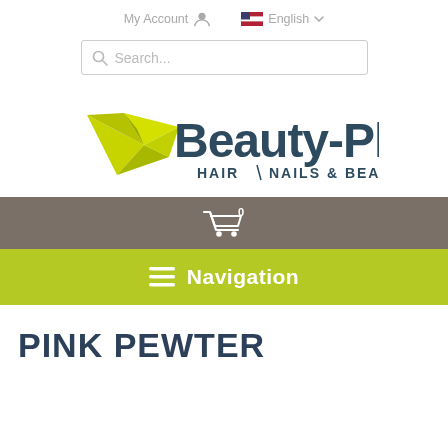My Account   English
[Figure (screenshot): Search bar with placeholder text 'Search...']
[Figure (logo): Beauty-Plaza Hair Nails & Beauty logo with green origami bird/lightning shape]
[Figure (infographic): Gray cart bar showing shopping cart icon with 0 badge]
[Figure (infographic): Yellow-green navigation bar with hamburger menu icon and text 'Navigation']
PINK PEWTER